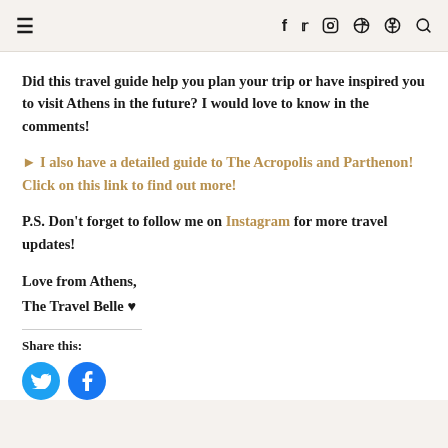≡   f  ✦  ⊙  ℗  🔍
Did this travel guide help you plan your trip or have inspired you to visit Athens in the future? I would love to know in the comments!
► I also have a detailed guide to The Acropolis and Parthenon! Click on this link to find out more!
P.S. Don't forget to follow me on Instagram for more travel updates!
Love from Athens,
The Travel Belle ♥
Share this: